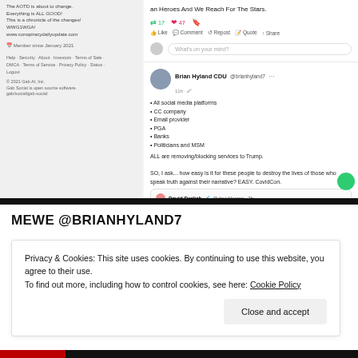[Figure (screenshot): Screenshot of Gab social media interface showing left sidebar with bio and footer links, and right feed with posts including one from Brian Hyland CDU @brianhyland7 listing entities removing services from Trump, with a quoted tweet from David Derlich about banks moving away from Trump]
MEWE @BRIANHYLAND7
Privacy & Cookies: This site uses cookies. By continuing to use this website, you agree to their use. To find out more, including how to control cookies, see here: Cookie Policy
Close and accept